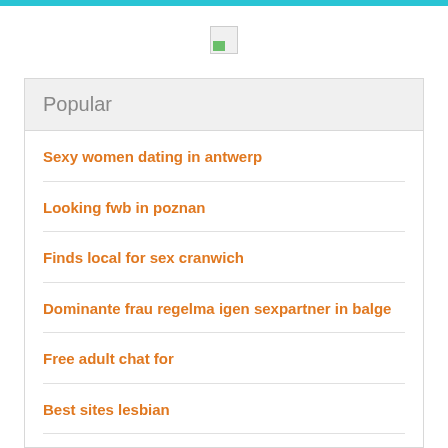[Figure (logo): Broken image placeholder icon at top center]
Popular
Sexy women dating in antwerp
Looking fwb in poznan
Finds local for sex cranwich
Dominante frau regelma igen sexpartner in balge
Free adult chat for
Best sites lesbian
Escort mk 2